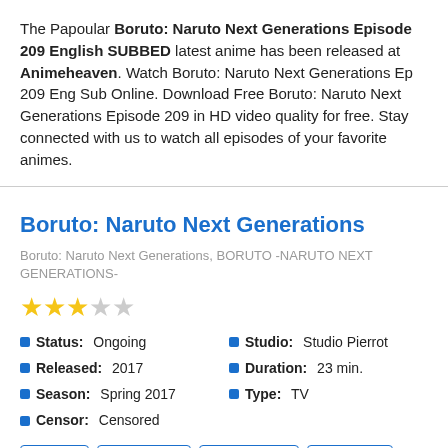The Papoular Boruto: Naruto Next Generations Episode 209 English SUBBED latest anime has been released at Animeheaven. Watch Boruto: Naruto Next Generations Ep 209 Eng Sub Online. Download Free Boruto: Naruto Next Generations Episode 209 in HD video quality for free. Stay connected with us to watch all episodes of your favorite animes.
Boruto: Naruto Next Generations
Boruto: Naruto Next Generations, BORUTO -NARUTO NEXT GENERATIONS-
Status: Ongoing
Released: 2017
Season: Spring 2017
Censor: Censored
Studio: Studio Pierrot
Duration: 23 min.
Type: TV
Action | Adventure | Martial Arts | Shounen | Super Power